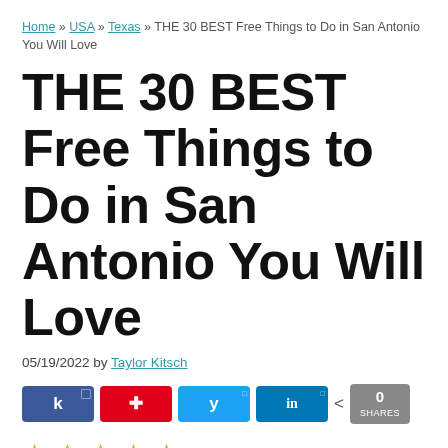Home » USA » Texas » THE 30 BEST Free Things to Do in San Antonio You Will Love
THE 30 BEST Free Things to Do in San Antonio You Will Love
05/19/2022 by Taylor Kitsch
[Figure (infographic): Social sharing buttons: Facebook, Pinterest, Twitter, LinkedIn, and a share count showing 0 SHARES]
5/5 - (1 vote)